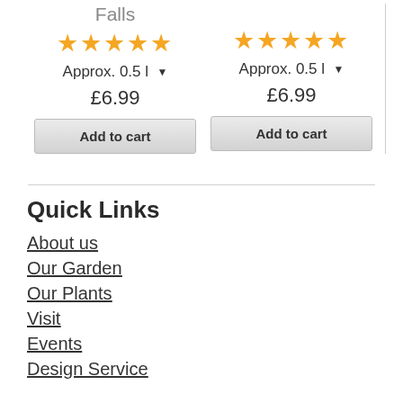Falls
[Figure (other): 5 gold stars rating for left product]
Approx. 0.5 l ▾
£6.99
Add to cart
[Figure (other): 5 gold stars rating for right product]
Approx. 0.5 l ▾
£6.99
Add to cart
Quick Links
About us
Our Garden
Our Plants
Visit
Events
Design Service